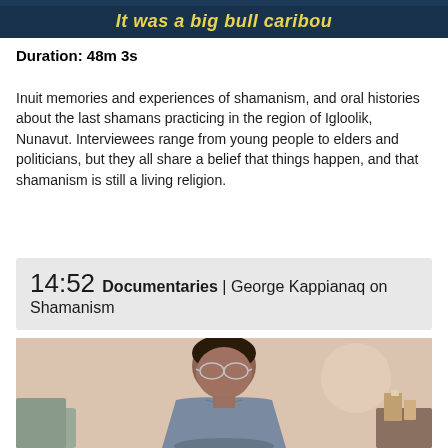[Figure (screenshot): Top portion of a video screenshot showing dark blue background with yellow italic text reading 'It was a big bull caribou']
Duration: 48m 3s
Inuit memories and experiences of shamanism, and oral histories about the last shamans practicing in the region of Igloolik, Nunavut. Interviewees range from young people to elders and politicians, but they all share a belief that things happen, and that shamanism is still a living religion.
14:52 Documentaries | George Kappianaq on Shamanism
[Figure (photo): An elderly Indigenous man wearing glasses and a blue-grey shirt, seated, looking slightly to the side. Background is a light pinkish-beige wall. Small items visible on a table to the right.]